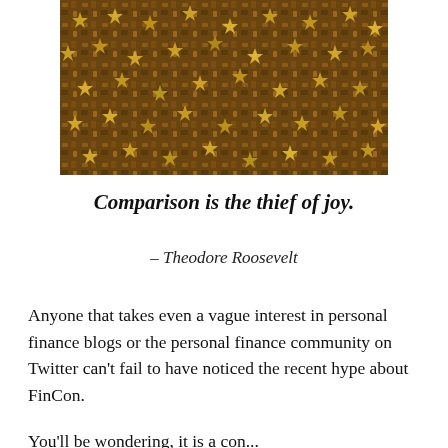[Figure (photo): Close-up photo of gold star-shaped confetti or glitter mixed with dark organic material, creating a textured golden pattern.]
Comparison is the thief of joy.
– Theodore Roosevelt
Anyone that takes even a vague interest in personal finance blogs or the personal finance community on Twitter can't fail to have noticed the recent hype about FinCon.
You'll be wondering, it is a con...